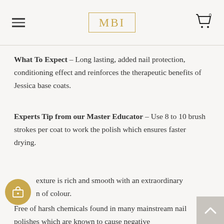MBI
What To Expect – Long lasting, added nail protection, conditioning effect and reinforces the therapeutic benefits of Jessica base coats.
Experts Tip from our Master Educator – Use 8 to 10 brush strokes per coat to work the polish which ensures faster drying.
Texture is rich and smooth with an extraordinary range of colour.
Free of harsh chemicals found in many mainstream nail polishes which are known to cause negative